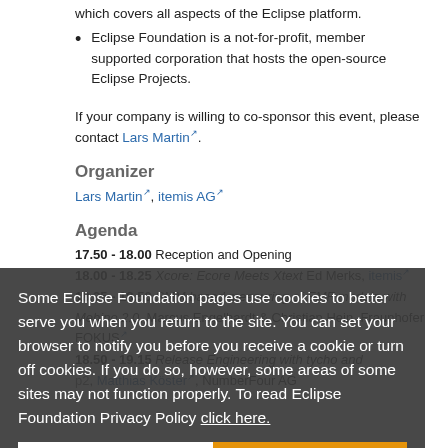which covers all aspects of the Eclipse platform.
Eclipse Foundation is a not-for-profit, member supported corporation that hosts the open-source Eclipse Projects.
If your company is willing to co-sponsor this event, please contact Lars Martin.
Organizer
Lars Martin, itemis AG
Agenda
17.50 - 18.00  Reception and Opening
18.00 - 18.25  Xcore: Ecore Meets Xtext Ed Merks, itemis
18.25 - 18.50  SMM based measuring of EMF models with Mebino 2.0, Marcus Engelhardt & Christian Hein, Fraunhofer FOKUS
18.50 - 19.15  Release Engineering with tycho and p2, Matthias Köster, NumberFour AG
Some Eclipse Foundation pages use cookies to better serve you when you return to the site. You can set your browser to notify you before you receive a cookie or turn off cookies. If you do so, however, some areas of some sites may not function properly. To read Eclipse Foundation Privacy Policy click here.